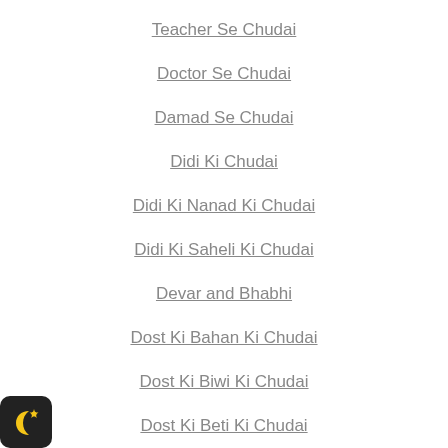Teacher Se Chudai
Doctor Se Chudai
Damad Se Chudai
Didi Ki Chudai
Didi Ki Nanad Ki Chudai
Didi Ki Saheli Ki Chudai
Devar and Bhabhi
Dost Ki Bahan Ki Chudai
Dost Ki Biwi Ki Chudai
Dost Ki Beti Ki Chudai
Dost Ki Maa Ki Chudai
Nanad Ki Chudai
Nurse Ki Chudai
[Figure (logo): Dark crescent moon with star icon on black rounded square background]